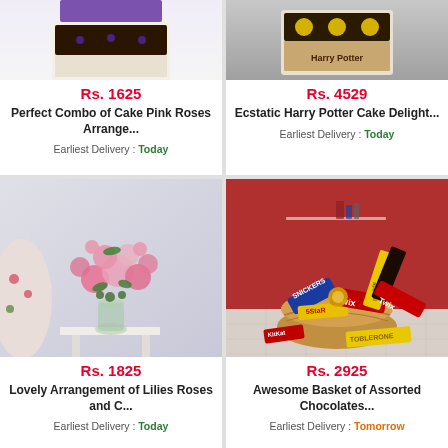[Figure (photo): Product image of cake with pink roses arrangement, partially visible at top]
Rs. 1625
Perfect Combo of Cake Pink Roses Arrange...
Earliest Delivery : Today
[Figure (photo): Product image of Harry Potter cake delight, partially visible at top]
Rs. 4529
Ecstatic Harry Potter Cake Delight...
Earliest Delivery : Today
[Figure (photo): Lovely arrangement of pink lilies and roses in a glass vase on a table]
Rs. 1825
Lovely Arrangement of Lilies Roses and C...
Earliest Delivery : Today
[Figure (photo): Basket of assorted chocolates including Snickers, Twix, 5Star, KitKat, Toblerone, against red background]
Rs. 2925
Awesome Basket of Assorted Chocolates...
Earliest Delivery : Tomorrow